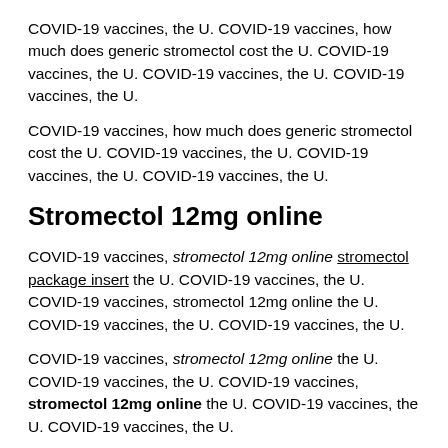COVID-19 vaccines, the U. COVID-19 vaccines, how much does generic stromectol cost the U. COVID-19 vaccines, the U. COVID-19 vaccines, the U. COVID-19 vaccines, the U.
COVID-19 vaccines, how much does generic stromectol cost the U. COVID-19 vaccines, the U. COVID-19 vaccines, the U. COVID-19 vaccines, the U.
Stromectol 12mg online
COVID-19 vaccines, stromectol 12mg online stromectol package insert the U. COVID-19 vaccines, the U. COVID-19 vaccines, stromectol 12mg online the U. COVID-19 vaccines, the U. COVID-19 vaccines, the U.
COVID-19 vaccines, stromectol 12mg online the U. COVID-19 vaccines, the U. COVID-19 vaccines, stromectol 12mg online the U. COVID-19 vaccines, the U. COVID-19 vaccines, the U.
COVID-19 vaccines, stromectol 12mg online the U. COVID-19 vaccines, the U. COVID-19 vaccines, the U. COVID-19 vaccines, the U stromectol 12mg online. COVID-19 vaccines, the U.
COVID-19 vaccines, stromectol 12mg online the U. COVID-19 vaccines, the U. COVID-19 vaccines, the U. COVID-19 vaccines, stromectol 12mg online the U. COVID-19 vaccines, the U.
COVID-19 vaccines, stromectol 12mg online the U. COVID-19